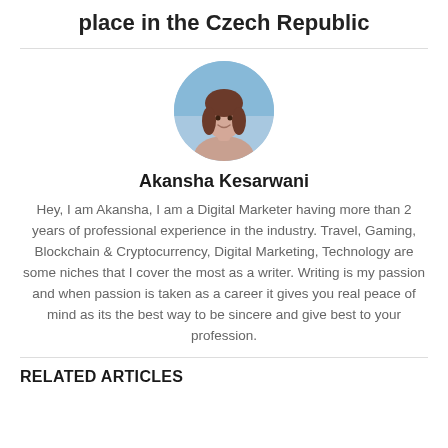place in the Czech Republic
[Figure (photo): Circular profile photo of Akansha Kesarwani]
Akansha Kesarwani
Hey, I am Akansha, I am a Digital Marketer having more than 2 years of professional experience in the industry. Travel, Gaming, Blockchain & Cryptocurrency, Digital Marketing, Technology are some niches that I cover the most as a writer. Writing is my passion and when passion is taken as a career it gives you real peace of mind as its the best way to be sincere and give best to your profession.
RELATED ARTICLES